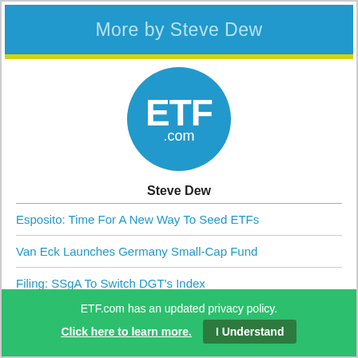More by Steve Dew
[Figure (logo): ETF.com circular logo — blue circle with white text 'ETF' large and '.com' below]
Steve Dew
Esposito: Time For A New Way To Seed ETFs
Van Eck Launches Germany Small-Cap Fund
Filing: SSgA To Switch DGT's Index
Russell, Arnott Firm Launch Indexes
RBS Launches Gold 'Trendpilot' ETN
ETF.com has an updated privacy policy. Click here to learn more. I Understand